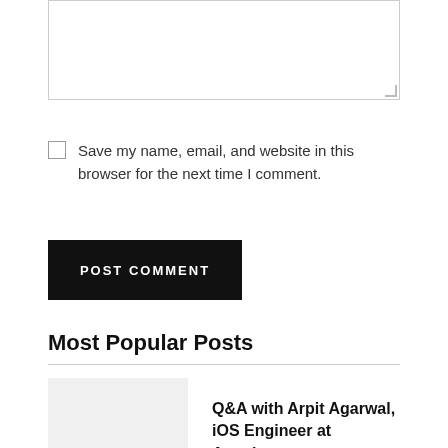[Figure (screenshot): Text area input box with resize handle in bottom-right corner]
Save my name, email, and website in this browser for the next time I comment.
POST COMMENT
Most Popular Posts
Q&A with Arpit Agarwal, iOS Engineer at Anyplace